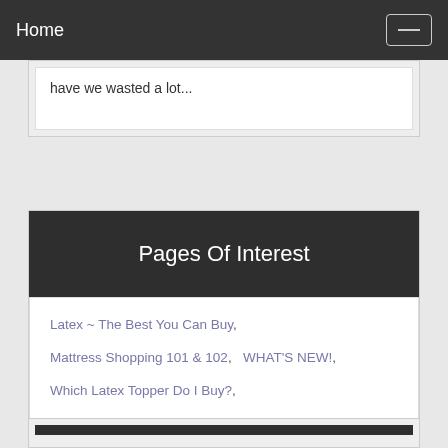Home
have we wasted a lot...
Pages Of Interest
Latex ~ The Best You Can Buy,
Mattress Shopping 101 & 102,   WHAT'S NEW!,
Which Latex Topper Do I Buy?,
You do not have to be a victim when you shop for a mattress. Read. Learn.